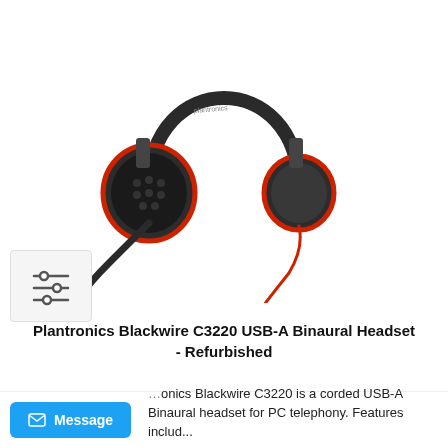[Figure (photo): Plantronics Blackwire C3220 USB-A binaural headset product photo on white background. Black headset with red accent rings on ear cups and a flexible boom microphone with red cable.]
Plantronics Blackwire C3220 USB-A Binaural Headset - Refurbished
The Plantronics Blackwire C3220 is a corded USB-A Binaural headset for PC telephony. Features includ...